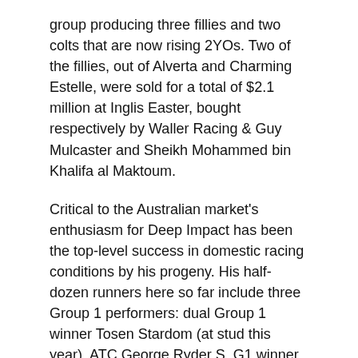group producing three fillies and two colts that are now rising 2YOs. Two of the fillies, out of Alverta and Charming Estelle, were sold for a total of $2.1 million at Inglis Easter, bought respectively by Waller Racing & Guy Mulcaster and Sheikh Mohammed bin Khalifa al Maktoum.
Critical to the Australian market's enthusiasm for Deep Impact has been the top-level success in domestic racing conditions by his progeny. His half-dozen runners here so far include three Group 1 performers: dual Group 1 winner Tosen Stardom (at stud this year), ATC George Ryder S. G1 winner Real Impact and Ambitious, twice Group 1-placed this season.
Deep Impact is the sire of seven other offshore Group 1 winners since 2012: Gentildonna (Dubai), A Shin